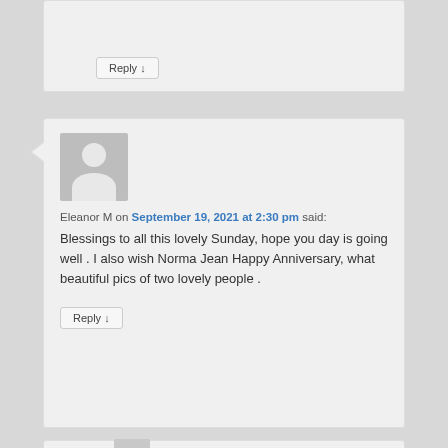Reply ↓
Eleanor M on September 19, 2021 at 2:30 pm said:
Blessings to all this lovely Sunday, hope you day is going well . I also wish Norma Jean Happy Anniversary, what beautiful pics of two lovely people .
Reply ↓